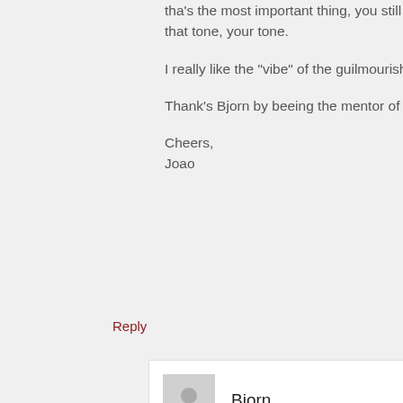tha's the most important thing, you still searching that tone, your tone.

I really like the “vibe” of the guilmourish site!

Thank’s Bjorn by beeing the mentor of that!

Cheers,
Joao
Reply
Bjorn